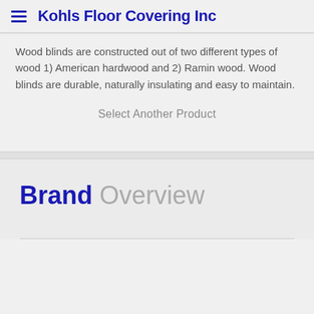Kohls Floor Covering Inc
Wood blinds are constructed out of two different types of wood 1) American hardwood and 2) Ramin wood. Wood blinds are durable, naturally insulating and easy to maintain.
Select Another Product
Brand Overview